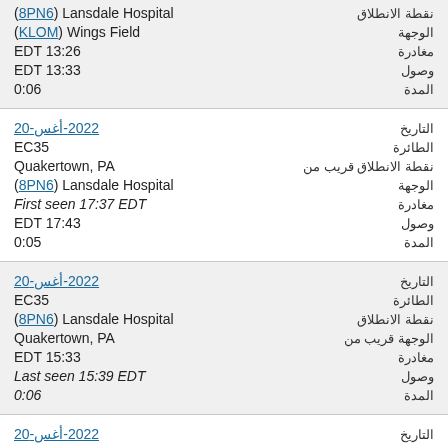نقطة الانطلاق (8PN6) Lansdale Hospital
الوجهة (KLOM) Wings Field
مغادرة EDT 13:26
وصول EDT 13:33
المدة 0:06
التاريخ 2022-أغس-20
الطائرة EC35
نقطة الانطلاق قريب من Quakertown, PA
الوجهة (8PN6) Lansdale Hospital
مغادرة First seen 17:37 EDT
وصول EDT 17:43
المدة 0:05
التاريخ 2022-أغس-20
الطائرة EC35
نقطة الانطلاق (8PN6) Lansdale Hospital
الوجهة قريب من Quakertown, PA
مغادرة EDT 15:33
وصول Last seen 15:39 EDT
المدة 0:06
التاريخ 2022-أغس-20